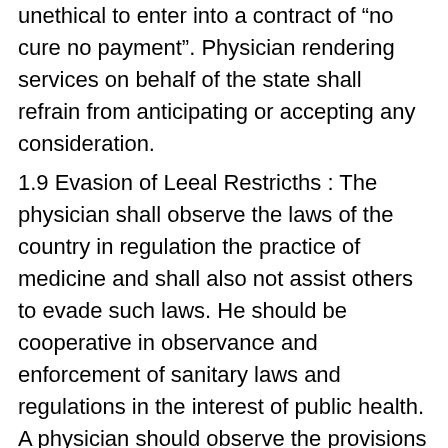unethical to enter into a contract of "no cure no payment". Physician rendering services on behalf of the state shall refrain from anticipating or accepting any consideration.
1.9 Evasion of Leeal Restricths : The physician shall observe the laws of the country in regulation the practice of medicine and shall also not assist others to evade such laws. He should be cooperative in observance and enforcement of sanitary laws and regulations in the interest of public health. A physician should observe the provisions of the State Acts like Drugs and Cosmetic Act, 1940; Pirarmac! Act, 1"948; Narcotic Drugs and Psychotropic substances Act, 1985; Medical Terruination of Pregnancy Act, 1971"; Transplantation of Human Organ Act, 1994; Mental Healih Act, 1987; Environmental Protection Act, 1986; Pre-natal Sex Determination Test Act, 1994; Drugs and